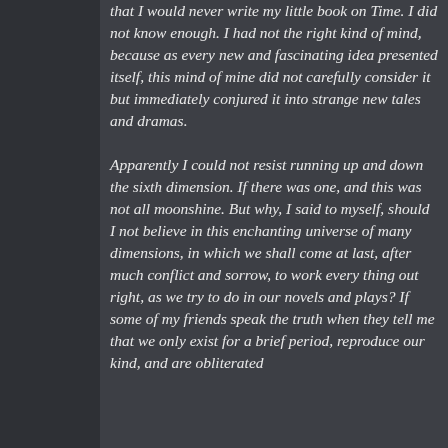that I would never write my little book on Time. I did not know enough. I had not the right kind of mind, because as every new and fascinating idea presented itself, this mind of mine did not carefully consider it but immediately conjured it into strange new tales and dramas.
Apparently I could not resist running up and down the sixth dimension. If there was one, and this was not all moonshine. But why, I said to myself, should I not believe in this enchanting universe of many dimensions, in which we shall come at last, after much conflict and sorrow, to work every thing out right, as we try to do in our novels and plays? If some of my friends speak the truth when they tell me that we only exist for a brief period, reproduce our kind, and are obliterated